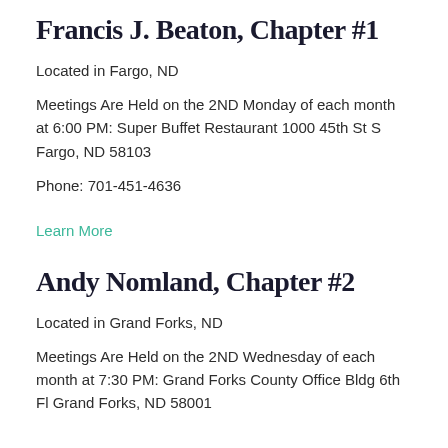Francis J. Beaton, Chapter #1
Located in Fargo, ND
Meetings Are Held on the 2ND Monday of each month at 6:00 PM: Super Buffet Restaurant 1000 45th St S Fargo, ND 58103
Phone: 701-451-4636
Learn More
Andy Nomland, Chapter #2
Located in Grand Forks, ND
Meetings Are Held on the 2ND Wednesday of each month at 7:30 PM: Grand Forks County Office Bldg 6th Fl Grand Forks, ND 58001